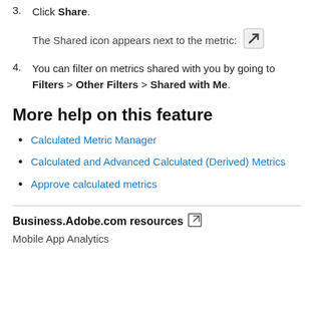3. Click Share.
The Shared icon appears next to the metric: [share icon]
4. You can filter on metrics shared with you by going to Filters > Other Filters > Shared with Me.
More help on this feature
Calculated Metric Manager
Calculated and Advanced Calculated (Derived) Metrics
Approve calculated metrics
Business.Adobe.com resources
Mobile App Analytics